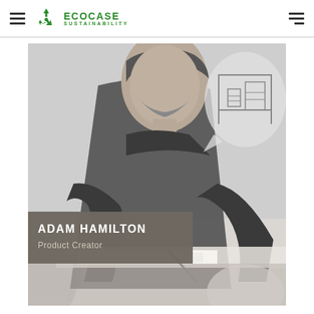ECOCASE SUSTAINABILITY
[Figure (photo): Grayscale photo of Adam Hamilton, a bearded man in a dark shirt, leaning over a desk and working/drawing. In the upper right is a speech bubble illustration showing a desk/cabinet. Lower left has a partial circular gray shape. The photo has a name overlay reading 'ADAM HAMILTON / Product Creator'.]